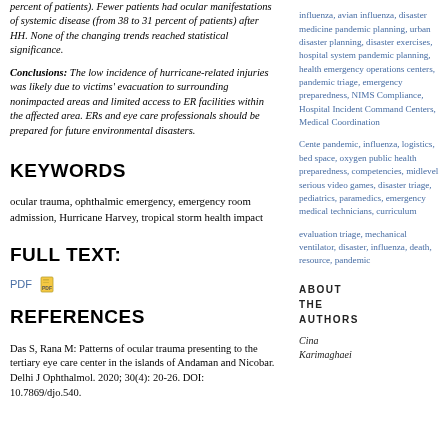percent of patients). Fewer patients had ocular manifestations of systemic disease (from 38 to 31 percent of patients) after HH. None of the changing trends reached statistical significance.
Conclusions: The low incidence of hurricane-related injuries was likely due to victims' evacuation to surrounding nonimpacted areas and limited access to ER facilities within the affected area. ERs and eye care professionals should be prepared for future environmental disasters.
KEYWORDS
ocular trauma, ophthalmic emergency, emergency room admission, Hurricane Harvey, tropical storm health impact
FULL TEXT:
PDF [icon]
REFERENCES
Das S, Rana M: Patterns of ocular trauma presenting to the tertiary eye care center in the islands of Andaman and Nicobar. Delhi J Ophthalmol. 2020; 30(4): 20-26. DOI: 10.7869/djo.540.
influenza, avian influenza, disaster medicine pandemic planning, urban disaster planning, disaster exercises, hospital system pandemic planning, health emergency operations centers, pandemic triage, emergency preparedness, NIMS Compliance, Hospital Incident Command Centers, Medical Coordination
Cente pandemic, influenza, logistics, bed space, oxygen public health preparedness, competencies, midlevel serious video games, disaster triage, pediatrics, paramedics, emergency medical technicians, curriculum
evaluation triage, mechanical ventilator, disaster, influenza, death, resource, pandemic
ABOUT THE AUTHORS
Cina Karimaghaei